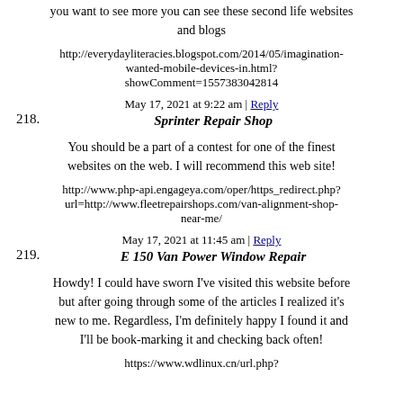you want to see more you can see these second life websites and blogs
http://everydayliteracies.blogspot.com/2014/05/imagination-wanted-mobile-devices-in.html?showComment=1557383042814
May 17, 2021 at 9:22 am | Reply
218. Sprinter Repair Shop
You should be a part of a contest for one of the finest websites on the web. I will recommend this web site!
http://www.php-api.engageya.com/oper/https_redirect.php?url=http://www.fleetrepairshops.com/van-alignment-shop-near-me/
May 17, 2021 at 11:45 am | Reply
219. E 150 Van Power Window Repair
Howdy! I could have sworn I've visited this website before but after going through some of the articles I realized it's new to me. Regardless, I'm definitely happy I found it and I'll be book-marking it and checking back often!
https://www.wdlinux.cn/url.php?